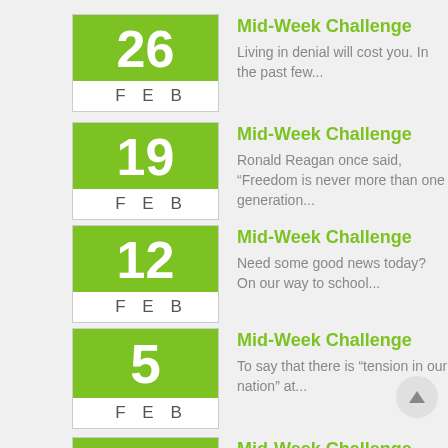26 FEB - Mid-Week Challenge - Living in denial will cost you. In the past few...
19 FEB - Mid-Week Challenge - Ronald Reagan once said, “Freedom is never more than one generation...
12 FEB - Mid-Week Challenge - Need some good news today? On our way to school...
5 FEB - Mid-Week Challenge - To say that there is “tension in our nation” at...
29 JAN - Mid-Week Challenge - We all have seen, read and made personal remarks about...